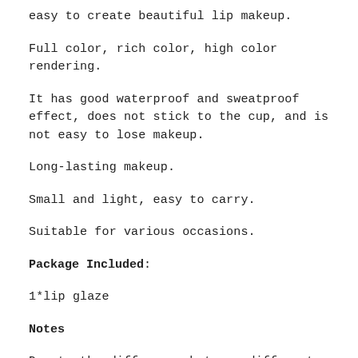easy to create beautiful lip makeup.
Full color, rich color, high color rendering.
It has good waterproof and sweatproof effect, does not stick to the cup, and is not easy to lose makeup.
Long-lasting makeup.
Small and light, easy to carry.
Suitable for various occasions.
Package Included:
1*lip glaze
Notes
Due to the difference between different monitors, the pictures may not reflect the actual color of the item.